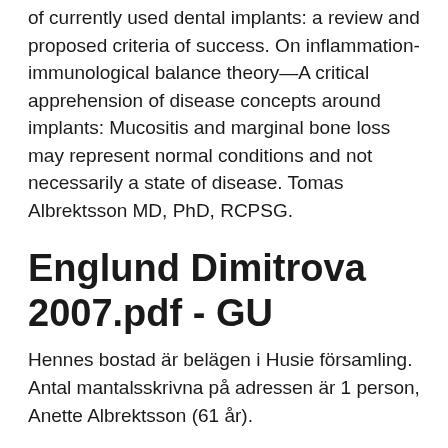of currently used dental implants: a review and proposed criteria of success. On inflammation-immunological balance theory—A critical apprehension of disease concepts around implants: Mucositis and marginal bone loss may represent normal conditions and not necessarily a state of disease. Tomas Albrektsson MD, PhD, RCPSG.
Englund Dimitrova 2007.pdf - GU
Hennes bostad är belägen i Husie församling. Antal mantalsskrivna på adressen är 1 person, Anette Albrektsson (61 år).